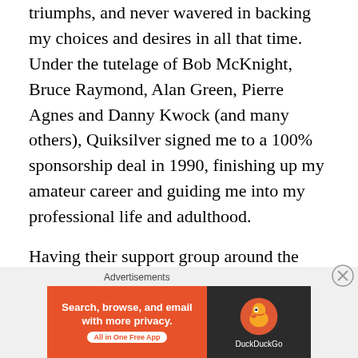triumphs, and never wavered in backing my choices and desires in all that time. Under the tutelage of Bob McKnight, Bruce Raymond, Alan Green, Pierre Agnes and Danny Kwock (and many others), Quiksilver signed me to a 100% sponsorship deal in 1990, finishing up my amateur career and guiding me into my professional life and adulthood.
Having their support group around the world allowed me to create a life I only dreamt of as a child…making a documentary (Kelly Slater In Black and White) about the start of my professional career, going on boat trips and small charter planes to remote locations I'd likely never see, taking long car rides and promo tours to places I'd
[Figure (infographic): DuckDuckGo advertisement banner: orange left panel with text 'Search, browse, and email with more privacy. All in One Free App' and dark right panel with DuckDuckGo duck logo. Labeled 'Advertisements' above.]